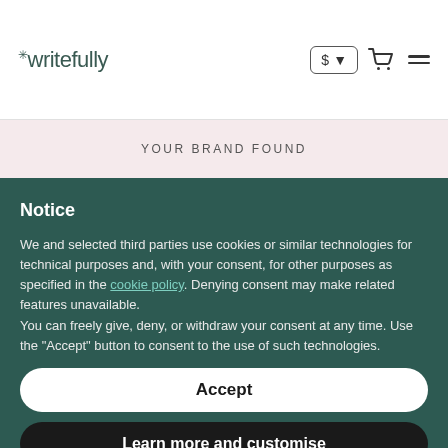writefully
YOUR BRAND FOUND
Notice
We and selected third parties use cookies or similar technologies for technical purposes and, with your consent, for other purposes as specified in the cookie policy. Denying consent may make related features unavailable.
You can freely give, deny, or withdraw your consent at any time. Use the "Accept" button to consent to the use of such technologies.
Accept
Learn more and customise